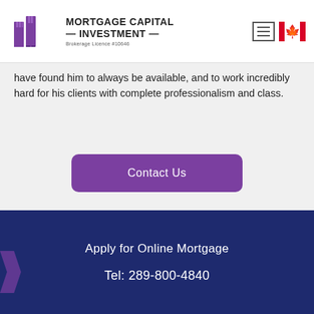[Figure (logo): Mortgage Capital Investment logo with purple building icon and company name. Brokerage Licence #10646. Menu hamburger icon and Canadian flag on the right.]
have found him to always be available, and to work incredibly hard for his clients with complete professionalism and class.
Contact Us
Apply for Online Mortgage
Tel: 289-800-4840